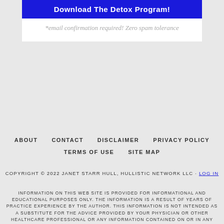[Figure (other): Blue button with white bold text reading 'Download The Detox Program!' inside a white box]
*email confirmation required! Zero spam tolerance
ABOUT   CONTACT   DISCLAIMER   PRIVACY POLICY   TERMS OF USE   SITE MAP
COPYRIGHT © 2022 JANET STARR HULL, HULLISTIC NETWORK LLC · LOG IN
INFORMATION ON THIS WEB SITE IS PROVIDED FOR INFORMATIONAL AND EDUCATIONAL PURPOSES ONLY. THE INFORMATION IS A RESULT OF YEARS OF PRACTICE EXPERIENCE BY THE AUTHOR. THIS INFORMATION IS NOT INTENDED AS A SUBSTITUTE FOR THE ADVICE PROVIDED BY YOUR PHYSICIAN OR OTHER HEALTHCARE PROFESSIONAL OR ANY INFORMATION CONTAINED ON OR IN ANY PRODUCT LABEL OR PACKAGING. DO NOT USE THE INFORMATION ON THIS WEB SITE FOR DIAGNOSING OR TREATING A HEALTH PROBLEM OR DISEASE, OR PRESCRIBING MEDICATION OR OTHER TREATMENT. ALWAYS SPEAK WITH